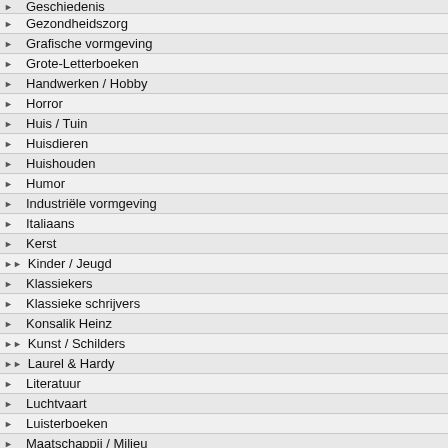Geschiedenis
Gezondheidszorg
Grafische vormgeving
Grote-Letterboeken
Handwerken / Hobby
Horror
Huis / Tuin
Huisdieren
Huishouden
Humor
Industriële vormgeving
Italiaans
Kerst
Kinder / Jeugd
Klassiekers
Klassieke schrijvers
Konsalik Heinz
Kunst / Schilders
Laurel & Hardy
Literatuur
Luchtvaart
Luisterboeken
Maatschappij / Milieu